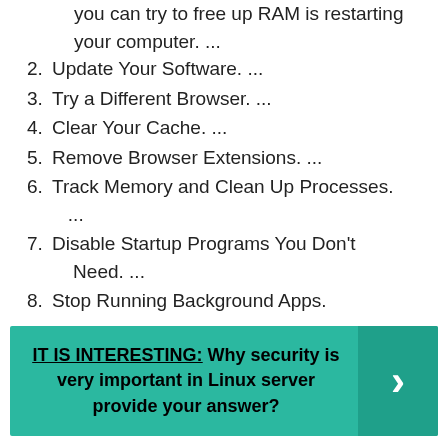you can try to free up RAM is restarting your computer. ...
2. Update Your Software. ...
3. Try a Different Browser. ...
4. Clear Your Cache. ...
5. Remove Browser Extensions. ...
6. Track Memory and Clean Up Processes. ...
7. Disable Startup Programs You Don't Need. ...
8. Stop Running Background Apps.
IT IS INTERESTING: Why security is very important in Linux server provide your answer?